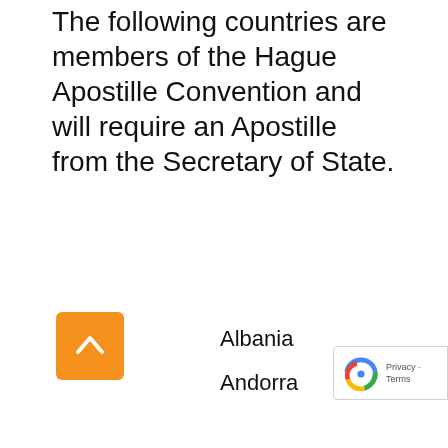The following countries are members of the Hague Apostille Convention and will require an Apostille from the Secretary of State.
Albania
Andorra